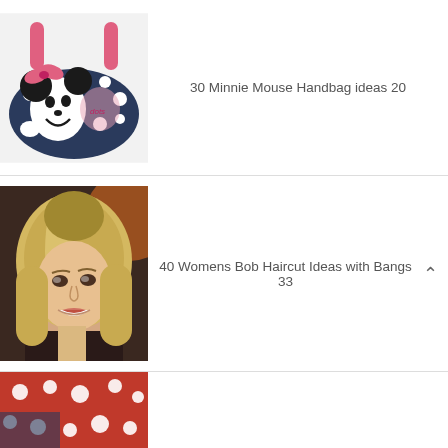[Figure (photo): Minnie Mouse handbag with pink handles and bow, dark navy with white polka dots]
30 Minnie Mouse Handbag ideas 20
[Figure (photo): Woman with short blonde bob haircut smiling]
40 Womens Bob Haircut Ideas with Bangs 33
[Figure (photo): Partial view of red Minnie Mouse item at bottom of page]